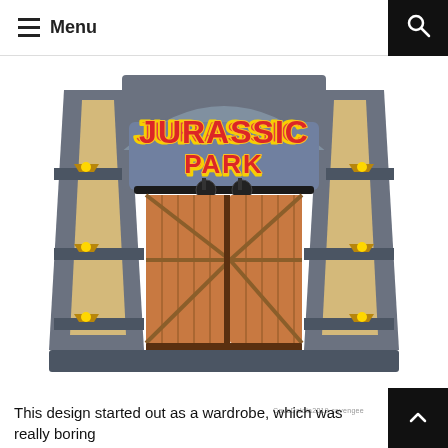Menu
[Figure (illustration): Illustration of a Jurassic Park themed wardrobe/gate design. The structure resembles the iconic Jurassic Park gates with wooden double barn doors, a grey stone arch bearing the 'Jurassic Park' logo in red and yellow letters, flanking columns with gold accent lights, and a sliding barn door rail system.]
CaveDaloia2019 cavengee
This design started out as a wardrobe, which was really boring